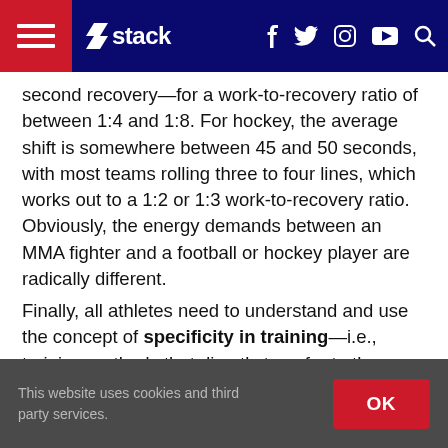stack
second recovery—for a work-to-recovery ratio of between 1:4 and 1:8. For hockey, the average shift is somewhere between 45 and 50 seconds, with most teams rolling three to four lines, which works out to a 1:2 or 1:3 work-to-recovery ratio. Obviously, the energy demands between an MMA fighter and a football or hockey player are radically different.
Finally, all athletes need to understand and use the concept of specificity in training—i.e., training methods that directly transfer to the demands of the sport. Most strength coaches would agree that an off-season strength and conditioning program should progress an athlete from general physical preparation, through
This website uses cookies and third party services.